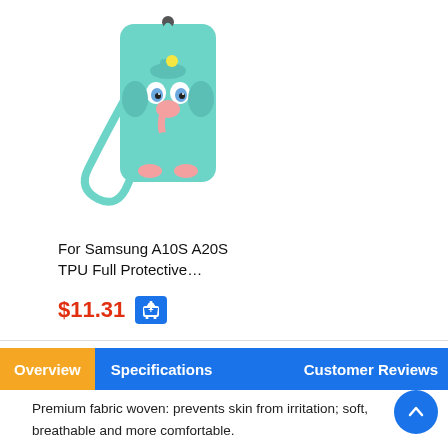[Figure (photo): Product image of a teal/mint colored elephant phone case with a lanyard strap]
For Samsung A10S A20S TPU Full Protective…
$11.31
Overview  Specifications  Customer Reviews
Premium fabric woven: prevents skin from irritation; soft, breathable and more comfortable.
Universal watch bands, well fit for Fitbit Versa/Fitbit Versa 2/Fitbit Versa Lite Edition watch.
Lightweight and breathable, yet very sturdy. typically softer but have a tighter weave.
Different styles for you to choose, to meet your daily wear needs. Buy